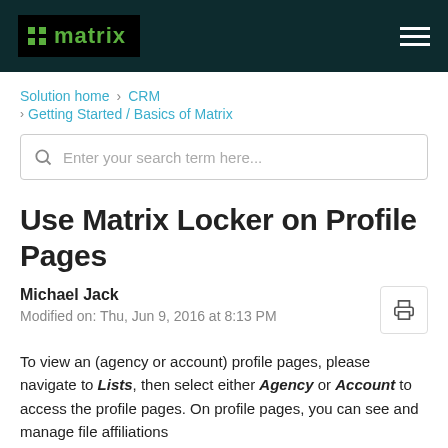matrix
Solution home › CRM › Getting Started / Basics of Matrix
Enter your search term here...
Use Matrix Locker on Profile Pages
Michael Jack
Modified on: Thu, Jun 9, 2016 at 8:13 PM
To view an (agency or account) profile pages, please navigate to Lists, then select either Agency or Account to access the profile pages. On profile pages, you can see and manage file affiliations